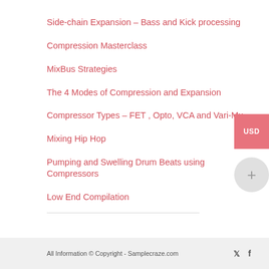Side-chain Expansion – Bass and Kick processing
Compression Masterclass
MixBus Strategies
The 4 Modes of Compression and Expansion
Compressor Types – FET , Opto, VCA and Vari-Mu
Mixing Hip Hop
Pumping and Swelling Drum Beats using Compressors
Low End Compilation
All Information © Copyright - Samplecraze.com